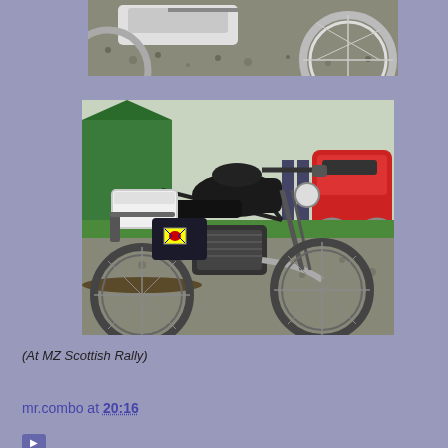[Figure (photo): Partial view of a motorcycle wheel and body on gravel, cropped at top of page]
[Figure (photo): MZ motorcycle parked on gravel at the MZ Scottish Rally, with a white top box, Korean flag sticker on luggage, green tent and red motorcycle in background]
(At MZ Scottish Rally)
mr.combo at 20:16